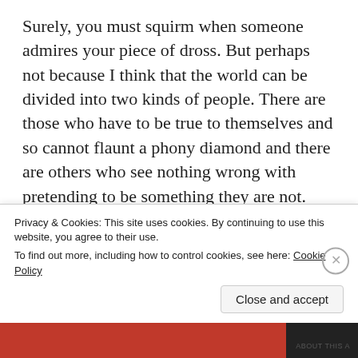Surely, you must squirm when someone admires your piece of dross. But perhaps not because I think that the world can be divided into two kinds of people. There are those who have to be true to themselves and so cannot flaunt a phony diamond and there are others who see nothing wrong with pretending to be something they are not.

I suspect that life is easier for those who can wear the simulants. They are probably much more relaxed about everything else. What do
Privacy & Cookies: This site uses cookies. By continuing to use this website, you agree to their use.
To find out more, including how to control cookies, see here: Cookie Policy